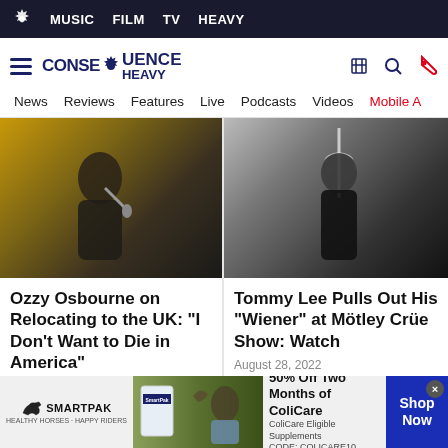MUSIC  FILM  TV  HEAVY
[Figure (logo): Consequence Heavy website logo with gear icon]
News  Reviews  Features  Live  Podcasts  Videos  Mobile A
[Figure (photo): Ozzy Osbourne performing on stage with microphone, yellow/golden stage lighting background]
Ozzy Osbourne on Relocating to the UK: "I Don't Want to Die in America"
August 29, 2022
[Figure (photo): Tommy Lee on stage at Mötley Crüe show, dark background, performer in dark clothing]
Tommy Lee Pulls Out His "Wiener" at Mötley Crüe Show: Watch
August 28, 2022
[Figure (infographic): SmartPak advertisement: 50% Off Two Months of ColiCare, ColiCare Eligible Supplements, CODE: COLICARE10, Shop Now button]
SmartPak — 50% Off Two Months of ColiCare. ColiCare Eligible Supplements. CODE: COLICARE10